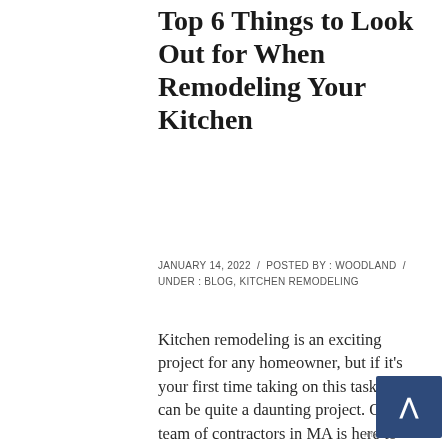Top 6 Things to Look Out for When Remodeling Your Kitchen
JANUARY 14, 2022  /  POSTED BY : WOODLAND  /  UNDER : BLOG, KITCHEN REMODELING
Kitchen remodeling is an exciting project for any homeowner, but if it's your first time taking on this task, it can be quite a daunting project. Our team of contractors in MA is here to support you throughout this process and will be happy to advise you about any concerns you may have in regards to home remodeling. Keep reading as we share the best steps to take to ensure